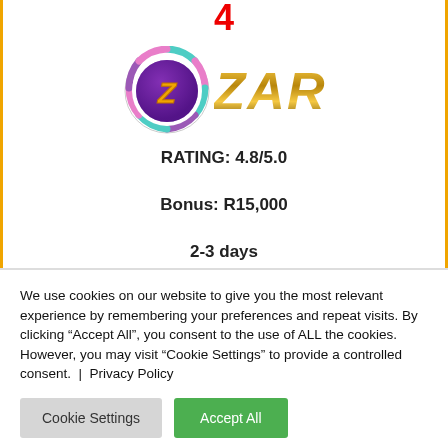4
[Figure (logo): ZAR Casino logo with a casino chip featuring the letter Z and the text ZAR in gold gradient italic font]
RATING: 4.8/5.0
Bonus: R15,000
2-3 days
We use cookies on our website to give you the most relevant experience by remembering your preferences and repeat visits. By clicking “Accept All”, you consent to the use of ALL the cookies. However, you may visit "Cookie Settings" to provide a controlled consent. | Privacy Policy
Cookie Settings
Accept All